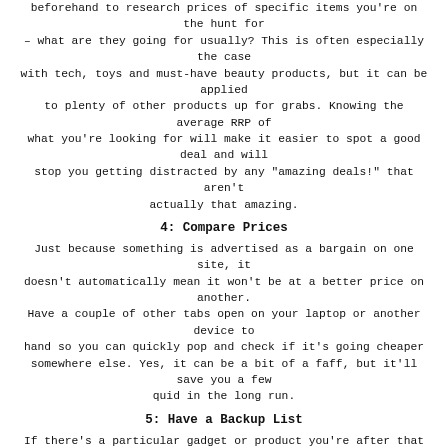beforehand to research prices of specific items you're on the hunt for – what are they going for usually? This is often especially the case with tech, toys and must-have beauty products, but it can be applied to plenty of other products up for grabs. Knowing the average RRP of what you're looking for will make it easier to spot a good deal and will stop you getting distracted by any "amazing deals!" that aren't actually that amazing.
4: Compare Prices
Just because something is advertised as a bargain on one site, it doesn't automatically mean it won't be at a better price on another. Have a couple of other tabs open on your laptop or another device to hand so you can quickly pop and check if it's going cheaper somewhere else. Yes, it can be a bit of a faff, but it'll save you a few quid in the long run.
5: Have a Backup List
If there's a particular gadget or product you're after that you know is going to be top of everyone else's wish list, it can be a good idea to have a backup list of other stores that sell it, just in case your first choice sells out before you can get hold of it! Admittedly in this case you may not get the best price, but it's all about weighing up your options – if it's likely to come back in stock at the same price, you may be able to wait, but if it's a "once it's gone, it's gone" scenario, you may have to bite the bullet and accept the deal was too good to stick around.